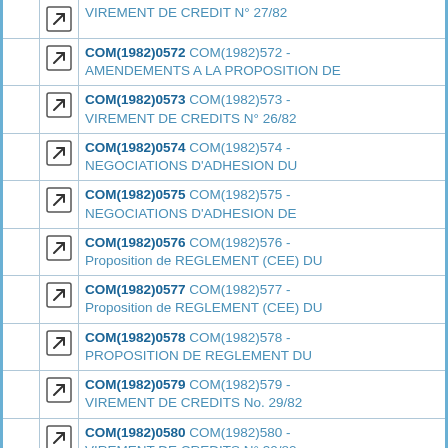COM(1982)0572 COM(1982)572 - AMENDEMENTS A LA PROPOSITION DE
COM(1982)0573 COM(1982)573 - VIREMENT DE CREDITS N° 26/82
COM(1982)0574 COM(1982)574 - NEGOCIATIONS D'ADHESION DU
COM(1982)0575 COM(1982)575 - NEGOCIATIONS D'ADHESION DE
COM(1982)0576 COM(1982)576 - Proposition de REGLEMENT (CEE) DU
COM(1982)0577 COM(1982)577 - Proposition de REGLEMENT (CEE) DU
COM(1982)0578 COM(1982)578 - PROPOSITION DE REGLEMENT DU
COM(1982)0579 COM(1982)579 - VIREMENT DE CREDITS No. 29/82
COM(1982)0580 COM(1982)580 - VIREMENT DE CREDITS N° 30/82
COM(1982)0581 COM(1982)581 - Virement de crédit n° 31/82 (Pé...